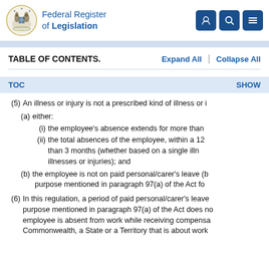Federal Register of Legislation
TABLE OF CONTENTS.
TOC   SHOW
(5)  An illness or injury is not a prescribed kind of illness or i
(a)  either:
(i)  the employee's absence extends for more than
(ii)  the total absences of the employee, within a 12 than 3 months (whether based on a single illn illnesses or injuries); and
(b)  the employee is not on paid personal/carer's leave (b purpose mentioned in paragraph 97(a) of the Act fo
(6)  In this regulation, a period of paid personal/carer's leave purpose mentioned in paragraph 97(a) of the Act does no employee is absent from work while receiving compensa Commonwealth, a State or a Territory that is about work